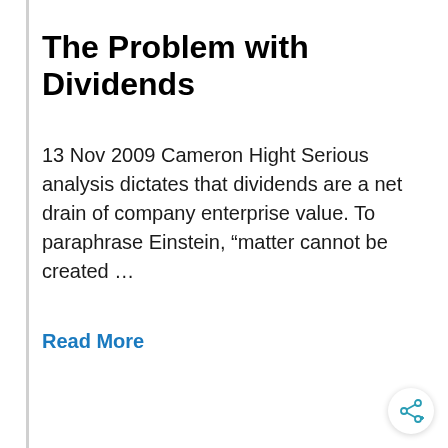The Problem with Dividends
13 Nov 2009 Cameron Hight Serious analysis dictates that dividends are a net drain of company enterprise value. To paraphrase Einstein, “matter cannot be created …
Read More
[Figure (other): Share button icon (circular button with share/network icon) in bottom-right corner]